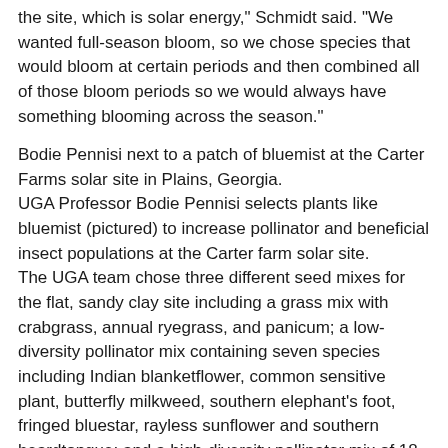the site, which is solar energy," Schmidt said. "We wanted full-season bloom, so we chose species that would bloom at certain periods and then combined all of those bloom periods so we would always have something blooming across the season."
Bodie Pennisi next to a patch of bluemist at the Carter Farms solar site in Plains, Georgia.
UGA Professor Bodie Pennisi selects plants like bluemist (pictured) to increase pollinator and beneficial insect populations at the Carter farm solar site.
The UGA team chose three different seed mixes for the flat, sandy clay site including a grass mix with crabgrass, annual ryegrass, and panicum; a low-diversity pollinator mix containing seven species including Indian blanketflower, common sensitive plant, butterfly milkweed, southern elephant's foot, fringed bluestar, rayless sunflower and southern beardtongue; and a high-diversity pollinator mix of 18 species including Indian blanketflower, partridge pea, black-eyed Susan, yarrow, lanceleaf coreopsis, southern elephant's foot, mistflower and 11 others.